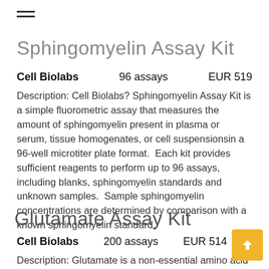≡ (hamburger menu icon)
Sphingomyelin Assay Kit
Cell Biolabs    96 assays    EUR 519
Description: Cell Biolabs? Sphingomyelin Assay Kit is a simple fluorometric assay that measures the amount of sphingomyelin present in plasma or serum, tissue homogenates, or cell suspensionsin a 96-well microtiter plate format.  Each kit provides sufficient reagents to perform up to 96 assays, including blanks, sphingomyelin standards and unknown samples.  Sample sphingomyelin concentrations are determined by comparison with a known sphingomyelin standard.
Glutamate Assay Kit
Cell Biolabs    200 assays    EUR 514
Description: Glutamate is a non-essential amino acid that...